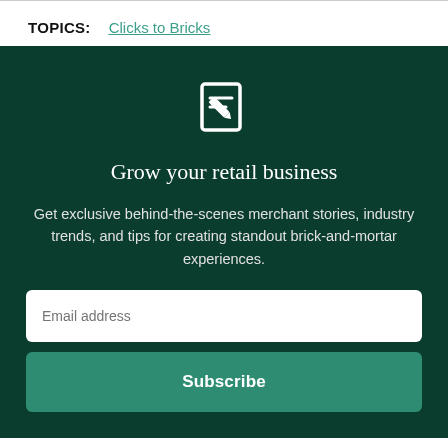TOPICS:   Clicks to Bricks
[Figure (illustration): White icon of a document/notepad with a pencil/edit symbol on a dark green background]
Grow your retail business
Get exclusive behind-the-scenes merchant stories, industry trends, and tips for creating standout brick-and-mortar experiences.
Email address
Subscribe